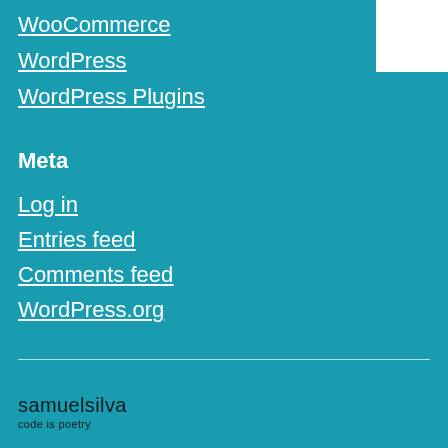WooCommerce
WordPress
WordPress Plugins
Meta
Log in
Entries feed
Comments feed
WordPress.org
samuelsilva
code is poetry